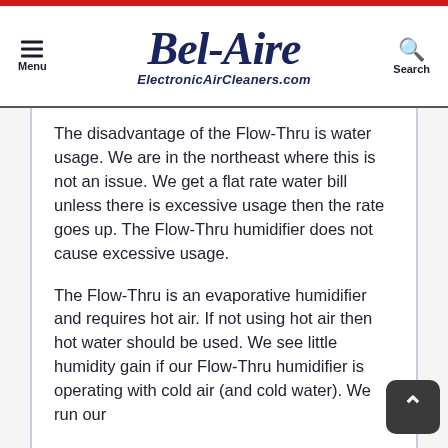Bel-Aire ElectronicAirCleaners.com
The disadvantage of the Flow-Thru is water usage. We are in the northeast where this is not an issue. We get a flat rate water bill unless there is excessive usage then the rate goes up. The Flow-Thru humidifier does not cause excessive usage.
The Flow-Thru is an evaporative humidifier and requires hot air. If not using hot air then hot water should be used. We see little humidity gain if our Flow-Thru humidifier is operating with cold air (and cold water). We run our